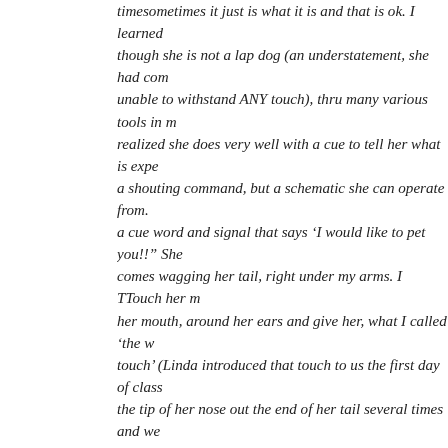timesometimes it just is what it is and that is ok. I learned though she is not a lap dog (an understatement, she had come unable to withstand ANY touch), thru many various tools in m realized she does very well with a cue to tell her what is expe a shouting command, but a schematic she can operate from. a cue word and signal that says 'I would like to pet you!!' She comes wagging her tail, right under my arms. I TTouch her m her mouth, around her ears and give her, what I called 'the w touch' (Linda introduced that touch to us the first day of class the tip of her nose out the end of her tail several times and w twitching and tension begin to leave. She leans into my leg an we both know when enough is enough I say "Thank you" (ano from Linda: common courtesy of please and thank you to you lift my arms. She happily goes on her way, very content, satis reconnected.
*ENVISION THE POSITIVE OUTCOME VS. DREADING A NEG EXPECTATION. I finally learned to only take Chavah to challenging situations WAS READY_....meaning, could I 'see' a positive outcome. W expecting? Was I scared or nervous? Why? If I am uneasy ab